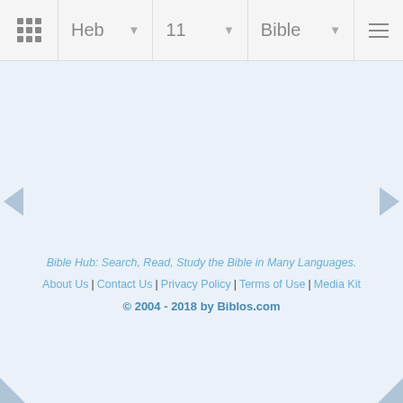Heb | 11 | Bible
Bible Hub: Search, Read, Study the Bible in Many Languages. | About Us | Contact Us | Privacy Policy | Terms of Use | Media Kit | © 2004 - 2018 by Biblos.com